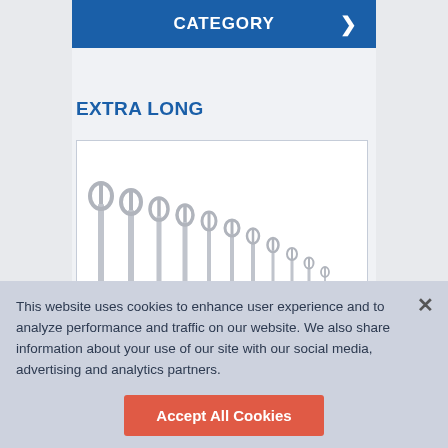CATEGORY
EXTRA LONG
[Figure (photo): A set of extra-long combination wrenches arranged by size from largest to smallest, photographed on a white background inside a bordered box.]
This website uses cookies to enhance user experience and to analyze performance and traffic on our website. We also share information about your use of our site with our social media, advertising and analytics partners.
Accept All Cookies